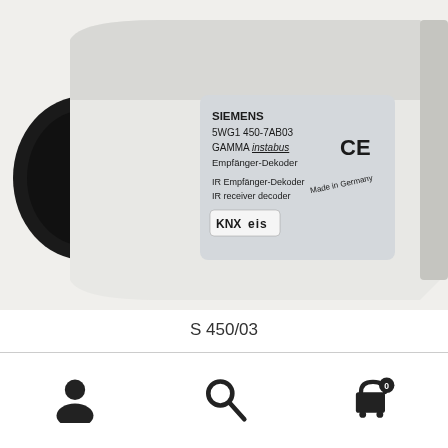[Figure (photo): Close-up photo of a Siemens GAMMA instabus IR Empfänger-Dekoder (IR receiver decoder), model 5WG1 450-7AB03, with KNX EIS logo and CE marking, Made in Germany label, white plastic device.]
S 450/03
Read more
[Figure (illustration): Bottom navigation bar with three icons: user/account icon, search magnifier icon, and shopping cart icon with badge showing 0.]